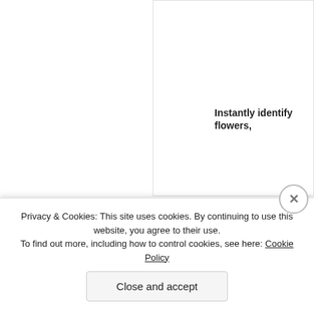[Figure (other): Advertisement box with text 'Instantly identify flowers,' partially visible on top right]
sunday morning
July 24, 2012 in countryside, eats, family | Leave
[Figure (photo): Photo of white lace trim on a dark background]
Privacy & Cookies: This site uses cookies. By continuing to use this website, you agree to their use.
To find out more, including how to control cookies, see here: Cookie Policy
Close and accept